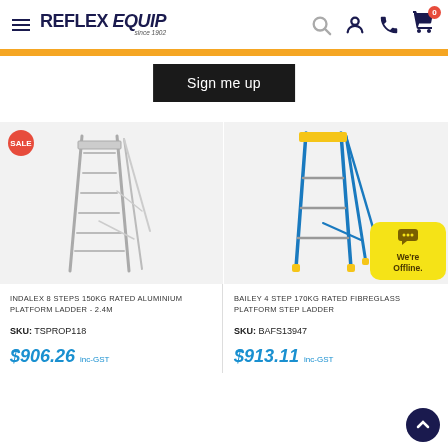Reflex Equip - since 1902
Sign me up
[Figure (photo): Aluminium platform step ladder, 8 steps, silver/grey colour, A-frame style]
INDALEX 8 STEPS 150KG RATED ALUMINIUM PLATFORM LADDER - 2.4M
SKU: TSPROP118
$906.26 inc-GST
[Figure (photo): Blue fibreglass platform step ladder, 4 steps, Bailey brand, with yellow safety feet and top]
BAILEY 4 STEP 170KG RATED FIBREGLASS PLATFORM STEP LADDER
SKU: BAFS13947
$913.11 inc-GST